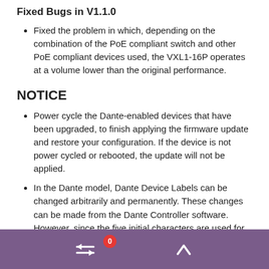Fixed Bugs in V1.1.0
Fixed the problem in which, depending on the combination of the PoE compliant switch and other PoE compliant devices used, the VXL1-16P operates at a volume lower than the original performance.
NOTICE
Power cycle the Dante-enabled devices that have been upgraded, to finish applying the firmware update and restore your configuration. If the device is not power cycled or rebooted, the update will not be applied.
In the Dante model, Dante Device Labels can be changed arbitrarily and permanently. These changes can be made from the Dante Controller software. However, since the five initial characters are used for device identification (decided by UNIT ID), they should not be changed. The 6th character and subsequent ones can be changed arbitrarily.
Moreover, the following rules concerning Dante Device Labels are common to all Dante devices (and not just this one):